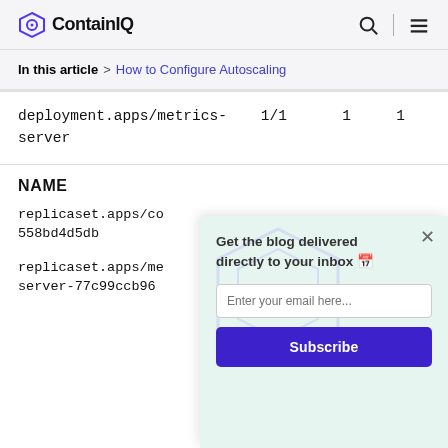ContainIQ
In this article > How to Configure Autoscaling
deployment.apps/metrics-server    1/1    1    1
NAME
replicaset.apps/co
558bd4d5db
replicaset.apps/me
server-77c99ccb96
Get the blog delivered directly to your inbox 🗓